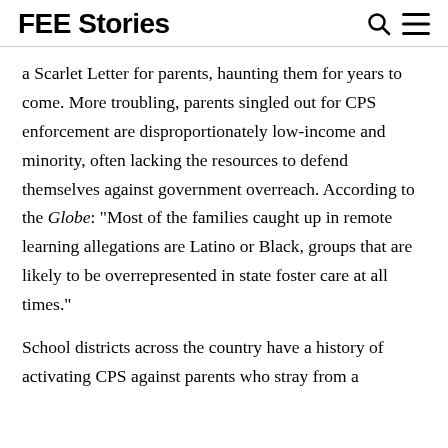FEE Stories
a Scarlet Letter for parents, haunting them for years to come. More troubling, parents singled out for CPS enforcement are disproportionately low-income and minority, often lacking the resources to defend themselves against government overreach. According to the Globe: “Most of the families caught up in remote learning allegations are Latino or Black, groups that are likely to be overrepresented in state foster care at all times.”
School districts across the country have a history of activating CPS against parents who stray from a